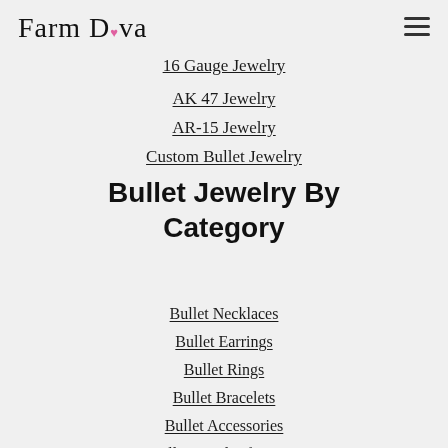Farm Diva
16 Gauge Jewelry
AK 47 Jewelry
AR-15 Jewelry
Custom Bullet Jewelry
Bullet Jewelry By Category
Bullet Necklaces
Bullet Earrings
Bullet Rings
Bullet Bracelets
Bullet Accessories
Bullet Jewelry for Men